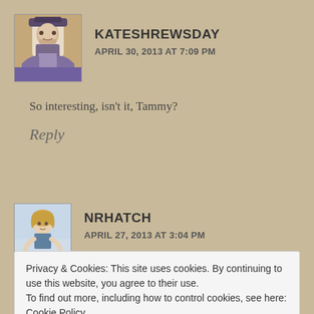[Figure (photo): Avatar photo for kateshrewsday - medieval style illustration of a person in religious/medieval attire]
KATESHREWSDAY
APRIL 30, 2013 AT 7:09 PM
So interesting, isn't it, Tammy?
Reply
[Figure (photo): Avatar photo for nrhatch - woman with blonde hair outdoors]
NRHATCH
APRIL 27, 2013 AT 3:04 PM
Privacy & Cookies: This site uses cookies. By continuing to use this website, you agree to their use.
To find out more, including how to control cookies, see here: Cookie Policy
Close and accept
second children in particular: